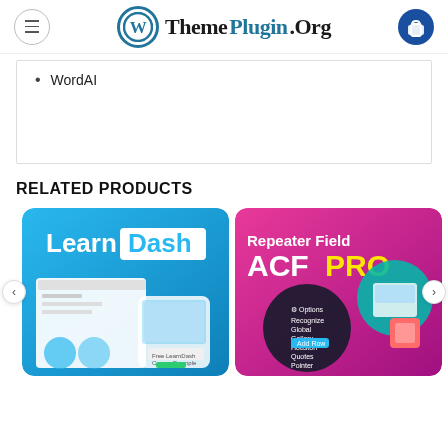ThemePlugin.Org
WordAI
RELATED PRODUCTS
[Figure (screenshot): LearnDash product card with blue background showing LearnDash logo and UI screenshot]
[Figure (screenshot): ACF PRO Repeater Field product card with pink/magenta background showing ACF PRO logo and UI elements]